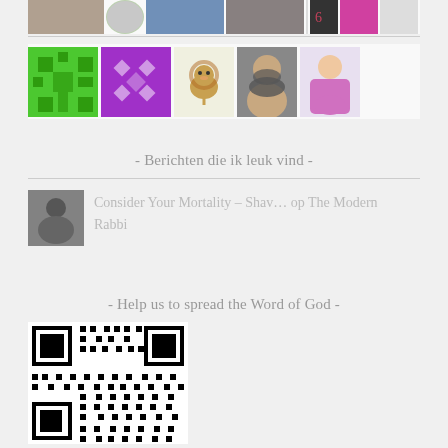[Figure (photo): Top row of avatar/profile icons including photos and decorative icons]
[Figure (photo): Second row of avatar/profile icons including green pattern, purple pattern, lion illustration, bearded man photo, girl illustration]
- Berichten die ik leuk vind -
[Figure (photo): Black and white portrait photo (liked post thumbnail)]
Consider Your Mortality – Shav… op The Modern Rabbi
- Help us to spread the Word of God -
[Figure (other): QR code image]